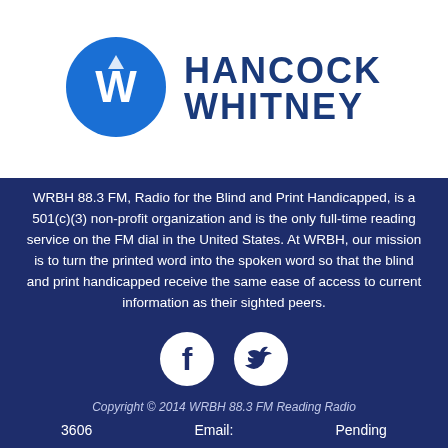[Figure (logo): Hancock Whitney bank logo — blue circle with white 'HW' monogram, next to large blue bold text 'HANCOCK WHITNEY']
WRBH 88.3 FM, Radio for the Blind and Print Handicapped, is a 501(c)(3) non-profit organization and is the only full-time reading service on the FM dial in the United States. At WRBH, our mission is to turn the printed word into the spoken word so that the blind and print handicapped receive the same ease of access to current information as their sighted peers.
[Figure (illustration): Facebook and Twitter social media icons — two white circular icons side by side on dark blue background]
Copyright © 2014 WRBH 88.3 FM Reading Radio
3606   Email:   Pending